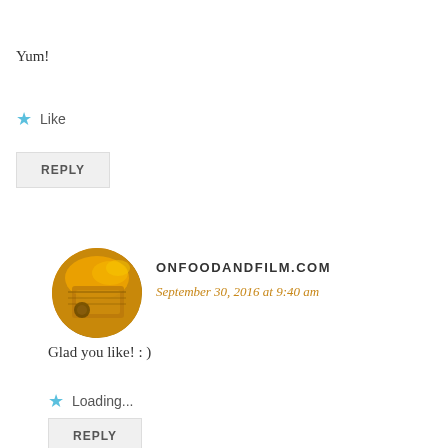Yum!
★ Like
REPLY
[Figure (photo): Circular avatar image showing food and film related imagery with golden/orange tones]
ONFOODANDFILM.COM
September 30, 2016 at 9:40 am
Glad you like! : )
★ Loading...
REPLY